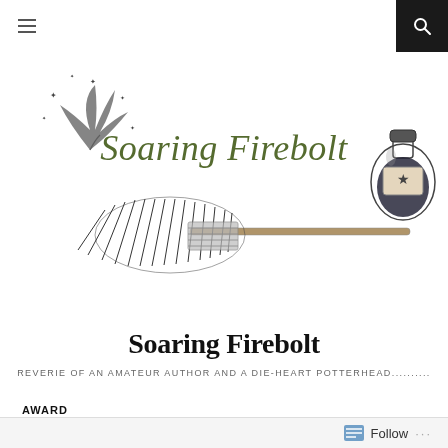≡  🔍
[Figure (illustration): Soaring Firebolt blog banner illustration with a magical broomstick (Firebolt), a sprig with sparkles top-left, a potion bottle top-right, and the cursive text 'Soaring Firebolt' in olive/dark green script]
Soaring Firebolt
REVERIE OF AN AMATEUR AUTHOR AND A DIE-HEART POTTERHEAD..........
AWARD
Follow